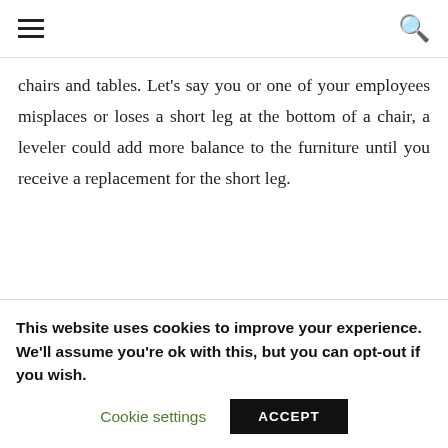[hamburger menu icon] [search icon]
chairs and tables. Let's say you or one of your employees misplaces or loses a short leg at the bottom of a chair, a leveler could add more balance to the furniture until you receive a replacement for the short leg.
This website uses cookies to improve your experience. We'll assume you're ok with this, but you can opt-out if you wish. Cookie settings ACCEPT